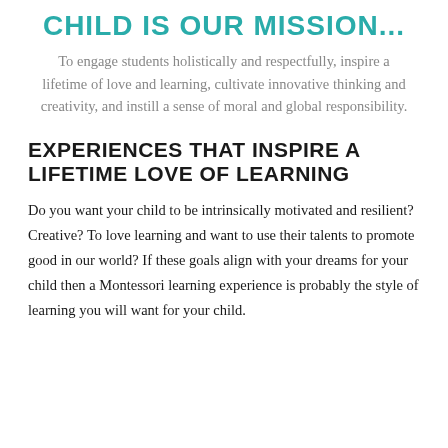CHILD IS OUR MISSION...
To engage students holistically and respectfully, inspire a lifetime of love and learning, cultivate innovative thinking and creativity, and instill a sense of moral and global responsibility.
EXPERIENCES THAT INSPIRE A LIFETIME LOVE OF LEARNING
Do you want your child to be intrinsically motivated and resilient? Creative? To love learning and want to use their talents to promote good in our world? If these goals align with your dreams for your child then a Montessori learning experience is probably the style of learning you will want for your child.